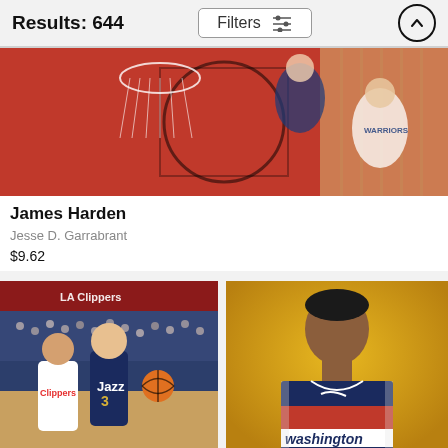Results: 644
[Figure (screenshot): Filters button with sliders icon and up arrow button]
[Figure (photo): Aerial basketball photo showing players near a hoop, red court surface visible]
James Harden
Jesse D. Garrabrant
$9.62
[Figure (photo): NBA game action photo of Utah Jazz player #3 dribbling against LA Clippers defender, Clippers arena in background]
[Figure (photo): Portrait photo of Washington Wizards player #6 in white/red/navy Washington jersey against yellow background]